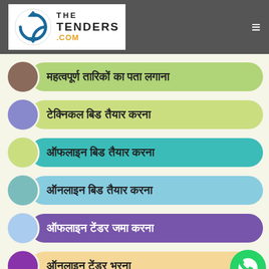[Figure (logo): TheTenders.com logo with circular arrow icon]
महत्वपूर्ण तारिकों का पता लगाना
टेक्निकल बिड तैयार करना
ऑफलाइन बिड तैयार करना
ऑनलाइन बिड तैयार करना
ऑफलाइन टेंडर जमा करना
ऑनलाइन टेंडर भरना
[Figure (illustration): WhatsApp green phone button icon]